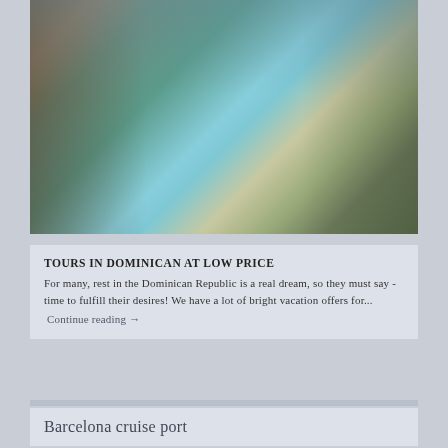[Figure (photo): Luxury resort or villa with concrete architecture, tropical garden with lush grass, water feature, ocean or lake view in background, blue sky]
TOURS IN DOMINICAN AT LOW PRICE
For many, rest in the Dominican Republic is a real dream, so they must say - time to fulfill their desires! We have a lot of bright vacation offers for...
Continue reading →
Barcelona cruise port
9 UNFORGETTABLE PLACES